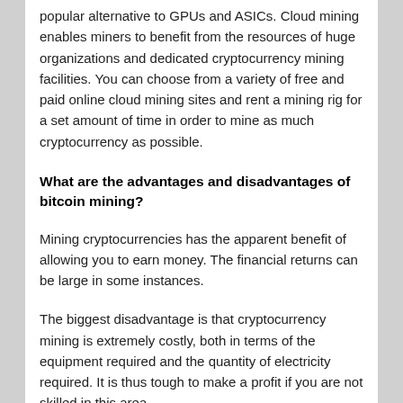popular alternative to GPUs and ASICs. Cloud mining enables miners to benefit from the resources of huge organizations and dedicated cryptocurrency mining facilities. You can choose from a variety of free and paid online cloud mining sites and rent a mining rig for a set amount of time in order to mine as much cryptocurrency as possible.
What are the advantages and disadvantages of bitcoin mining?
Mining cryptocurrencies has the apparent benefit of allowing you to earn money. The financial returns can be large in some instances.
The biggest disadvantage is that cryptocurrency mining is extremely costly, both in terms of the equipment required and the quantity of electricity required. It is thus tough to make a profit if you are not skilled in this area.
Another disadvantage is the influence on the environment. According to The New York Times, bitcoin mining uses 91